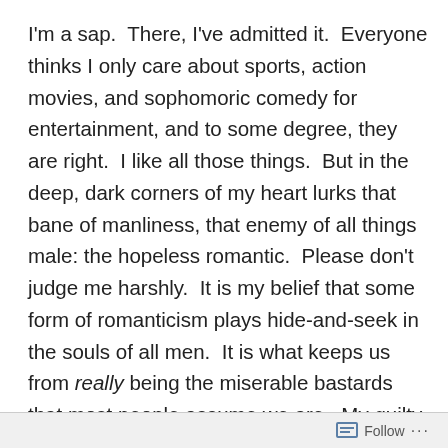I'm a sap.  There, I've admitted it.  Everyone thinks I only care about sports, action movies, and sophomoric comedy for entertainment, and to some degree, they are right.  I like all those things.  But in the deep, dark corners of my heart lurks that bane of manliness, that enemy of all things male: the hopeless romantic.  Please don't judge me harshly.  It is my belief that some form of romanticism plays hide-and-seek in the souls of all men.  It is what keeps us from really being the miserable bastards that most people assume we are.  My guilty romantic pleasure is the genre of movies called romantic comedy.  Show me someone making a life-altering decision or suffering from the injustices of the world around them, and a salty tear will roll down my cheek to the amusement of my family.  Of course, I fake coughs, yawns, and eyeglass adjustments
Follow ···